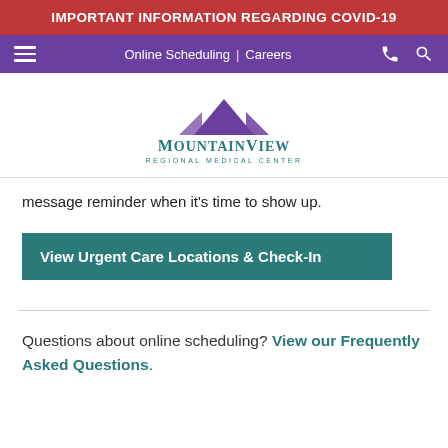IMPORTANT INFORMATION REGARDING COVID-19
[Figure (screenshot): Navigation bar with hamburger menu, Online Scheduling, Careers links, phone and search icons on purple background]
[Figure (logo): MountainView Regional Medical Center logo with purple mountain graphic and teal text]
message reminder when it's time to show up.
View Urgent Care Locations & Check-In
Questions about online scheduling? View our Frequently Asked Questions.